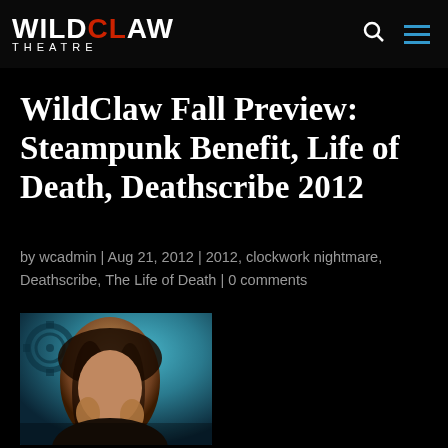WILDCLAW THEATRE
WildClaw Fall Preview: Steampunk Benefit, Life of Death, Deathscribe 2012
by wcadmin | Aug 21, 2012 | 2012, clockwork nightmare, Deathscribe, The Life of Death | 0 comments
[Figure (photo): A woman with curly hair and hands raised near her face, with steampunk/clockwork imagery in the background, teal and brown tones]